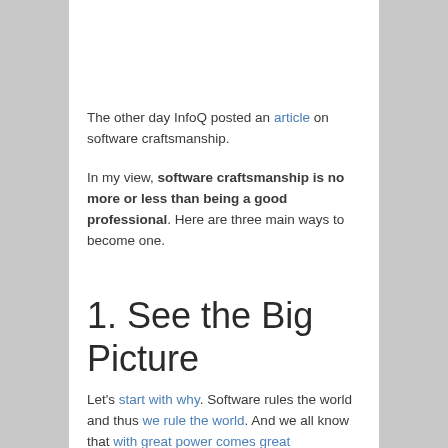The other day InfoQ posted an article on software craftsmanship.
In my view, software craftsmanship is no more or less than being a good professional. Here are three main ways to become one.
1. See the Big Picture
Let's start with why. Software rules the world and thus we rule the world. And we all know that with great power comes great responsibility.
Now what is responsible behavior in this